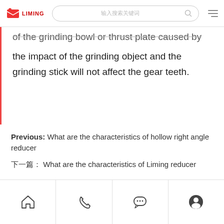LIMING [search bar] [menu]
of the grinding bowl or thrust plate caused by the impact of the grinding object and the grinding stick will not affect the gear teeth.
Previous:  What are the characteristics of hollow right angle reducer
下一篇：  What are the characteristics of Liming reducer
[home] [phone] [chat] [user]